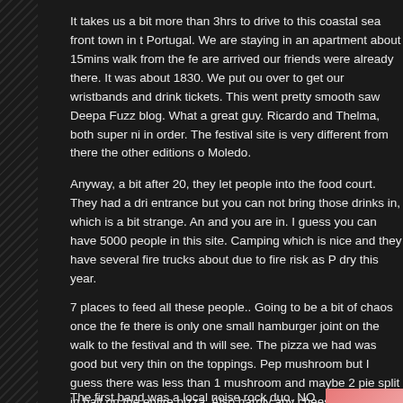It takes us a bit more than 3hrs to drive to this coastal sea front town in Portugal. We are staying in an apartment about 15mins walk from the festival. When are arrived our friends were already there. It was about 1830. We put our stuff down and over to get our wristbands and drink tickets. This went pretty smooth saw the guy from the Deepa Fuzz blog. What a great guy. Ricardo and Thelma, both super nice, got everything in order. The festival site is very different from there the other editions of the Sonic Bloom in Moledo.
Anyway, a bit after 20, they let people into the food court. They had a drinks bar at the entrance but you can not bring those drinks in, which is a bit strange. Anyway show your ticket and you are in. I guess you can have 5000 people in this site. Camping is not allowed, which is nice and they have several fire trucks about due to fire risk as Portugal has been very dry this year.
7 places to feed all these people.. Going to be a bit of chaos once the festival gets going, there is only one small hamburger joint on the walk to the festival and that is it, but we will see. The pizza we had was good but very thin on the toppings. Pepperoni and mushroom but I guess there was less than 1 mushroom and maybe 2 pieces of pepperoni split in half on the entire pizza. Also hardly any cheese, just a lot of bread.
The first band was a local noise rock duo. NO idea what they were called but it was terrible.
[Figure (photo): A photo showing a reddish-pink sky or abstract warm-toned background, possibly a sunset photo taken at the festival.]